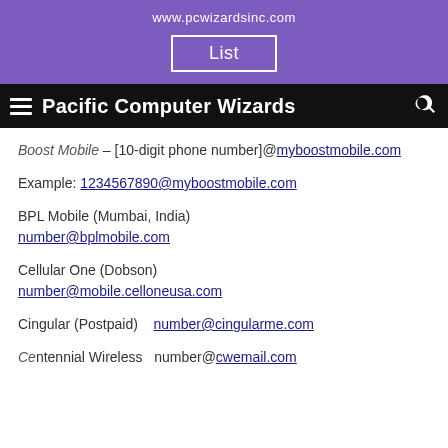www.pcwizardsinc.com
List
Pacific Computer Wizards
Boost Mobile – [10-digit phone number]@myboostmobile.com
Example: 1234567890@myboostmobile.com
BPL Mobile (Mumbai, India) number@bplmobile.com
Cellular One (Dobson) number@mobile.celloneusa.com
Cingular (Postpaid)  number@cingularme.com
Centennial Wireless  number@cwemail.com